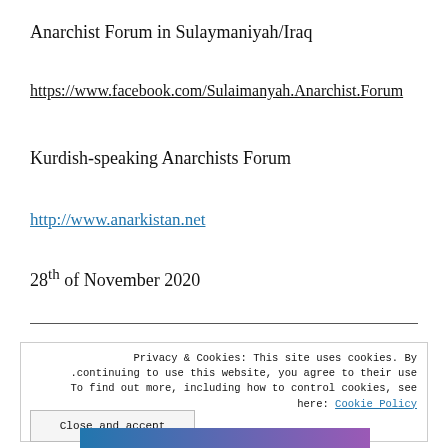Anarchist Forum in Sulaymaniyah/Iraq
https://www.facebook.com/Sulaimanyah.Anarchist.Forum
Kurdish-speaking Anarchists Forum
http://www.anarkistan.net
28th of November 2020
Privacy & Cookies: This site uses cookies. By continuing to use this website, you agree to their use. To find out more, including how to control cookies, see here: Cookie Policy
Close and accept